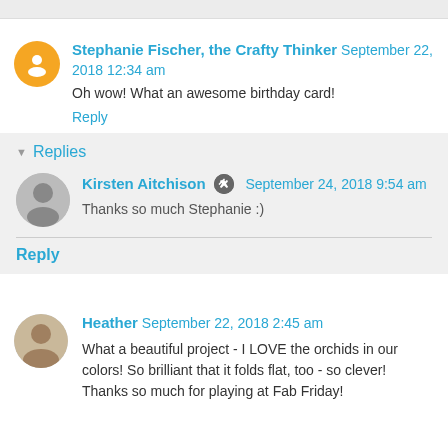Stephanie Fischer, the Crafty Thinker  September 22, 2018 12:34 am
Oh wow! What an awesome birthday card!
Reply
Replies
Kirsten Aitchison  September 24, 2018 9:54 am
Thanks so much Stephanie :)
Reply
Heather  September 22, 2018 2:45 am
What a beautiful project - I LOVE the orchids in our colors! So brilliant that it folds flat, too - so clever! Thanks so much for playing at Fab Friday!